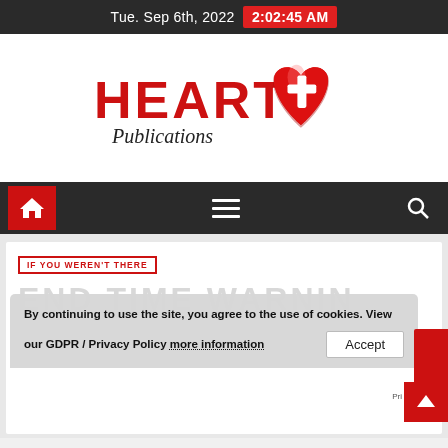Tue. Sep 6th, 2022  2:02:45 AM
[Figure (logo): Heart Publications logo — red bold 'HEART' text with italic 'Publications' script below, and a red heart with white cross icon to the right]
[Figure (screenshot): Navigation bar with red home icon button, hamburger menu icon, and search icon on dark background]
IF YOU WEREN'T THERE
END TIME WARNIN
By continuing to use the site, you agree to the use of cookies. View our GDPR / Privacy Policy more information  Accept